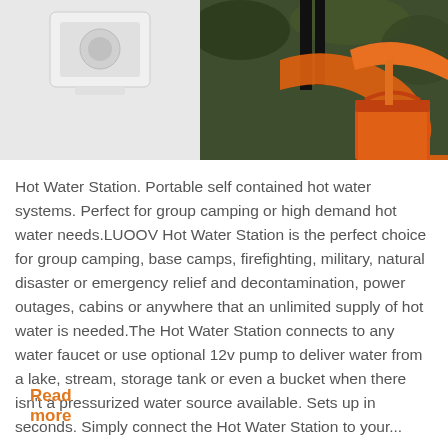[Figure (photo): Two product photos side by side: left shows a white hot water station device on light gray background, right shows outdoor scene with orange hose and orange bucket]
Hot Water Station.  Portable self contained hot water systems.  Perfect for group camping or high demand hot water needs.LUOOV Hot Water Station is the perfect choice for group camping, base camps, firefighting, military, natural disaster or emergency relief and decontamination, power outages, cabins or anywhere that an unlimited supply of hot water is needed.The Hot Water Station connects to any water faucet or use optional 12v pump to deliver water from a lake, stream, storage tank or even a bucket when there isn't a pressurized water source available. Sets up in seconds. Simply connect the Hot Water Station to your...
Read more